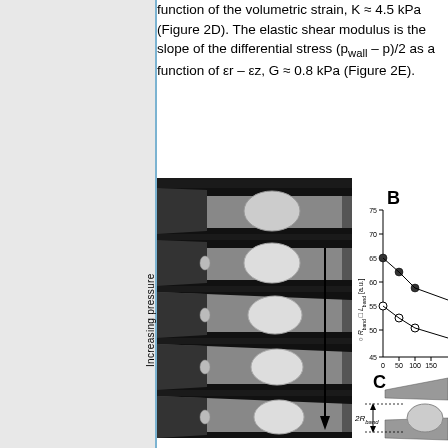function of the volumetric strain, K ≈ 4.5 kPa (Figure 2D). The elastic shear modulus is the slope of the differential stress (pwall – p)/2 as a function of εr – εz, G ≈ 0.8 kPa (Figure 2E).
[Figure (photo): Panel A: Microscopy images of a capsule in a tapered microchannel at increasing pressures, with scale bar 20 μm. Panel B: Partial view of a scatter plot showing R_band and L_band in a.u. vs Applied pressure, values roughly 45-75 a.u. Panel C: Partial schematic diagram showing 2R_band measurement annotation on a capsule cross-section.]